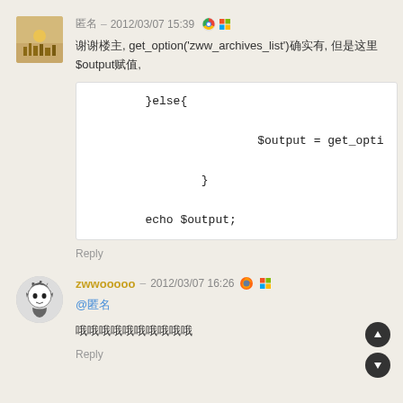匿名 – 2012/03/07 15:39
谢谢楼主, get_option('zww_archives_list')确实有, 但是这里$output赋值,
[Figure (screenshot): Code block showing: }else{ $output = get_opti } echo $output;]
Reply
zwwooooo – 2012/03/07 16:26
@匿名
哦哦哦哦哦哦哦哦哦哦
Reply